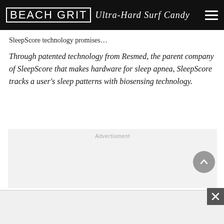BEACH GRIT Ultra-Hard Surf Candy
SleepScore technology promises…
Through patented technology from Resmed, the parent company of SleepScore that makes hardware for sleep apnea, SleepScore tracks a user's sleep patterns with biosensing technology.
[Figure (other): Advertisement placeholder box with light grey background and 'Advertisment' label]
[Figure (other): Bottom advertisement bar with close (X) button in bottom-right corner]